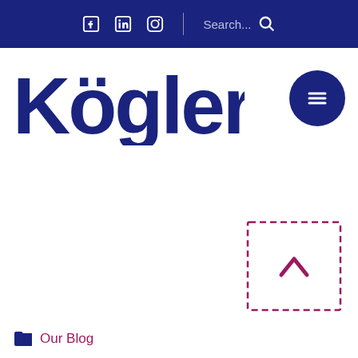Facebook LinkedIn Instagram Search...
[Figure (logo): Kögler company logo in dark navy blue text]
[Figure (other): Dark navy circular hamburger menu button with three horizontal lines]
[Figure (other): Dashed border placeholder image box with upward chevron arrow in magenta/purple]
25 May
Our Blog